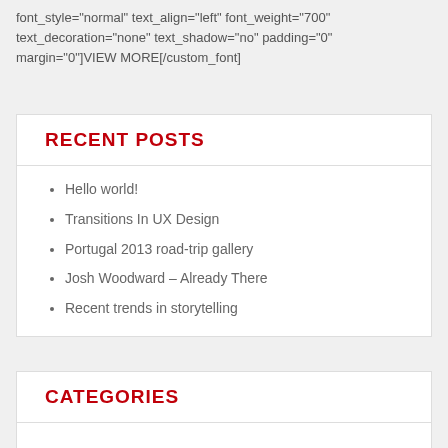font_style="normal" text_align="left" font_weight="700" text_decoration="none" text_shadow="no" padding="0" margin="0"]VIEW MORE[/custom_font]
RECENT POSTS
Hello world!
Transitions In UX Design
Portugal 2013 road-trip gallery
Josh Woodward – Already There
Recent trends in storytelling
CATEGORIES